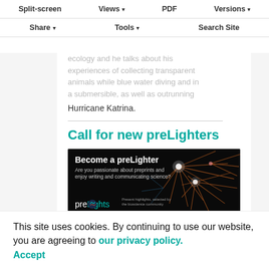Split-screen | Views | PDF | Versions | Share | Tools | Search Site
ecology and he talks about his experiences of collecting transparent animals while blue water diving and in a submersible, as well as outrunning Hurricane Katrina.
Call for new preLighters
[Figure (illustration): Promotional banner for preLights: 'Become a preLighter - Are you passionate about preprints and enjoy writing and communicating science?' with preLights logo and neuron imagery on black background.]
preLights is the preprint highlighting community supported by The Company of Biologists. At the heart of preLights are our preLighters: early-career researchers who select
This site uses cookies. By continuing to use our website, you are agreeing to our privacy policy. Accept